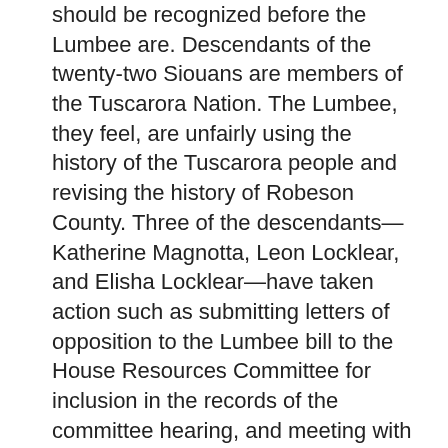should be recognized before the Lumbee are. Descendants of the twenty-two Siouans are members of the Tuscarora Nation. The Lumbee, they feel, are unfairly using the history of the Tuscarora people and revising the history of Robeson County. Three of the descendants—Katherine Magnotta, Leon Locklear, and Elisha Locklear—have taken action such as submitting letters of opposition to the Lumbee bill to the House Resources Committee for inclusion in the records of the committee hearing, and meeting with a staff member from Sen. Elizabeth Dole's office.
Jimmy Goins, chairman of the Lumbee Tribal Council, states, “The Tuscarora people are no different than the Lumbee people. . . . We share the same ancestry, live in the same